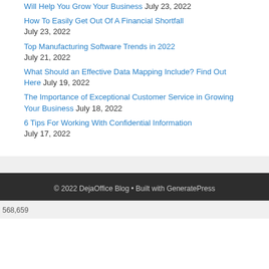Will Help You Grow Your Business July 23, 2022
How To Easily Get Out Of A Financial Shortfall July 23, 2022
Top Manufacturing Software Trends in 2022 July 21, 2022
What Should an Effective Data Mapping Include? Find Out Here July 19, 2022
The Importance of Exceptional Customer Service in Growing Your Business July 18, 2022
6 Tips For Working With Confidential Information July 17, 2022
© 2022 DejaOffice Blog • Built with GeneratePress
568,659